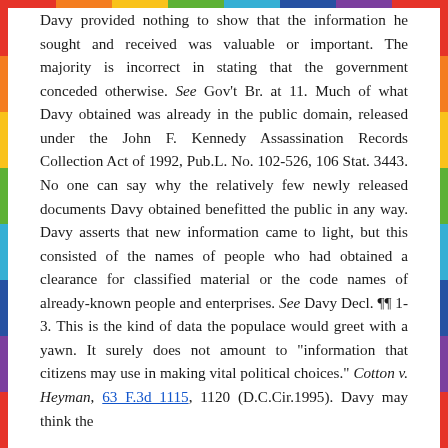Davy provided nothing to show that the information he sought and received was valuable or important. The majority is incorrect in stating that the government conceded otherwise. See Gov't Br. at 11. Much of what Davy obtained was already in the public domain, released under the John F. Kennedy Assassination Records Collection Act of 1992, Pub.L. No. 102-526, 106 Stat. 3443. No one can say why the relatively few newly released documents Davy obtained benefitted the public in any way. Davy asserts that new information came to light, but this consisted of the names of people who had obtained a clearance for classified material or the code names of already-known people and enterprises. See Davy Decl. ¶¶ 1-3. This is the kind of data the populace would greet with a yawn. It surely does not amount to "information that citizens may use in making vital political choices." Cotton v. Heyman, 63 F.3d 1115, 1120 (D.C.Cir.1995). Davy may think the